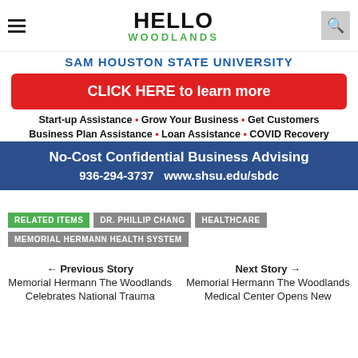HELLO WOODLANDS
[Figure (infographic): Sam Houston State University SBDC advertisement banner with red click here button, bullet points, and blue bar with phone number and website]
RELATED ITEMS  DR. PHILLIP CHANG  HEALTHCARE  MEMORIAL HERMANN HEALTH SYSTEM
← Previous Story
Memorial Hermann The Woodlands Celebrates National Trauma
Next Story →
Memorial Hermann The Woodlands Medical Center Opens New